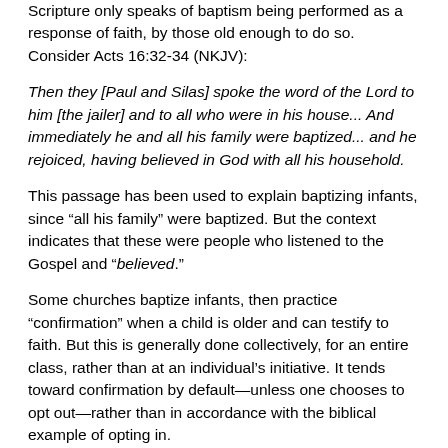Scripture only speaks of baptism being performed as a response of faith, by those old enough to do so. Consider Acts 16:32-34 (NKJV):
Then they [Paul and Silas] spoke the word of the Lord to him [the jailer] and to all who were in his house... And immediately he and all his family were baptized... and he rejoiced, having believed in God with all his household.
This passage has been used to explain baptizing infants, since “all his family” were baptized. But the context indicates that these were people who listened to the Gospel and “believed.”
Some churches baptize infants, then practice “confirmation” when a child is older and can testify to faith. But this is generally done collectively, for an entire class, rather than at an individual’s initiative. It tends toward confirmation by default—unless one chooses to opt out—rather than in accordance with the biblical example of opting in.
The biblical ritual for infants comes from the command of God given to Moses in Leviticus 12. Males were circumcised